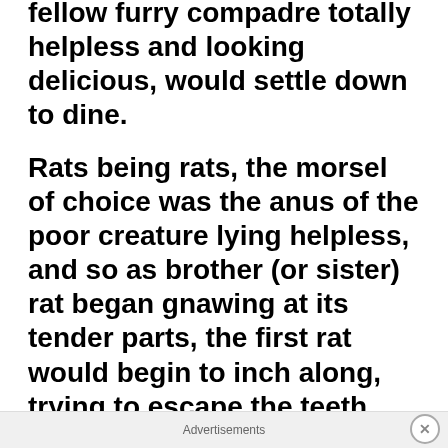fellow furry compadre totally helpless and looking delicious, would settle down to dine.
Rats being rats, the morsel of choice was the anus of the poor creature lying helpless, and so as brother (or sister) rat began gnawing at its tender parts, the first rat would begin to inch along, trying to escape the teeth burrowing from behind.
But soon, since rat #2 was also sick and disoriented even while dining, rat
Advertisements